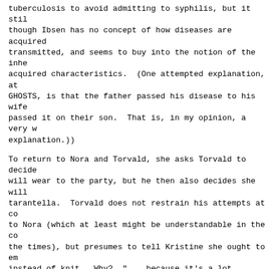tuberculosis to avoid admitting to syphilis, but it still, though Ibsen has no concept of how diseases are acquired transmitted, and seems to buy into the notion of the inhe acquired characteristics.  (One attempted explanation, at GHOSTS, is that the father passed his disease to his wife passed it on their son.  That is, in my opinion, a very w explanation.))
To return to Nora and Torvald, she asks Torvald to decide will wear to the party, but he then also decides she wil tarantella.  Torvald does not restrain his attempts at co to Nora (which at least might be understandable in the co the times), but presumes to tell Kristine she ought to em instead of knit.  Why?  "... because it's a lot prettier" needle moving "in an easy, sweeping curve."  He goes on, -it can never be anything but ugly [with] the arms tucked knitting needles going up and down."  That Kristine might knitting or even that she might be able to earn more mone knitting than from embroidering does not matter, or even him; what is important is that *his* aesthetic sense is n assaulted.  (This is parallel to the more modern phenomer telling women whom they do not even know to smile--because makes the men feel better.)
And then Torvald tops it off by calling Kristine "a deadl when he has exchanged barely a dozen lines with her, mono both conversations, and told her she should embroider ins knit.
Not content with reducing Nora to an animal, he now calls